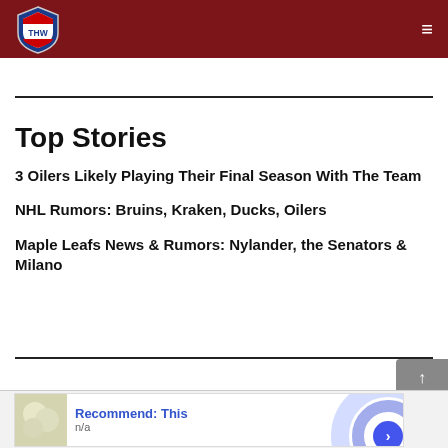THW - The Hockey Writers
Top Stories
3 Oilers Likely Playing Their Final Season With The Team
NHL Rumors: Bruins, Kraken, Ducks, Oilers
Maple Leafs News & Rumors: Nylander, the Senators & Milano
[Figure (other): Advertisement: Recommend: This, n/a, with blue circle arrow button]